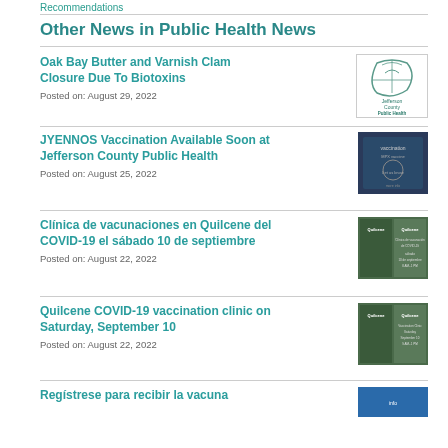Recommendations
Other News in Public Health News
Oak Bay Butter and Varnish Clam Closure Due To Biotoxins
Posted on: August 29, 2022
JYENNOS Vaccination Available Soon at Jefferson County Public Health
Posted on: August 25, 2022
Clínica de vacunaciones en Quilcene del COVID-19 el sábado 10 de septiembre
Posted on: August 22, 2022
Quilcene COVID-19 vaccination clinic on Saturday, September 10
Posted on: August 22, 2022
Regístrese para recibir la vacuna